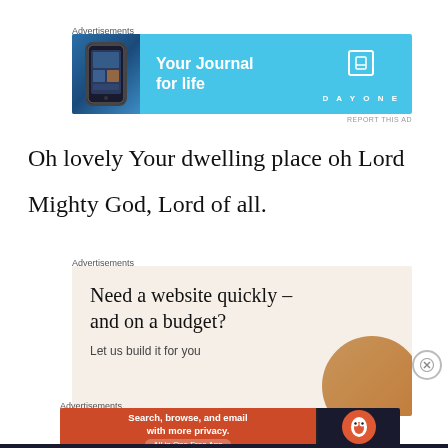Advertisements
[Figure (illustration): DayOne app advertisement banner in light blue with phone image and text 'Your Journal for life' with DayOne logo]
REPORT THIS AD
Oh lovely Your dwelling place oh Lord
Mighty God, Lord of all.
Advertisements
[Figure (illustration): Website building advertisement on beige background with text 'Need a website quickly – and on a budget? Let us build it for you' with circular image]
Advertisements
[Figure (illustration): DuckDuckGo advertisement banner: 'Search, browse, and email with more privacy. All in One Free App' on orange background with DuckDuckGo logo on dark background]
REPORT THIS AD